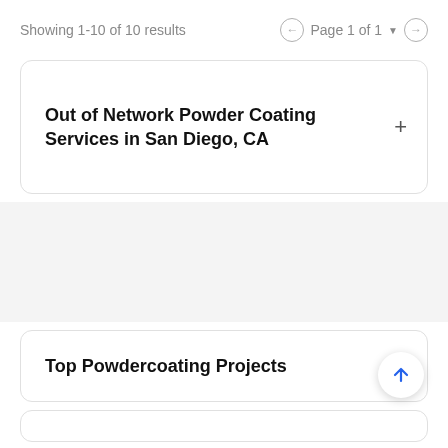Showing 1-10 of 10 results
Page 1 of 1
Out of Network Powder Coating Services in San Diego, CA
Top Powdercoating Projects